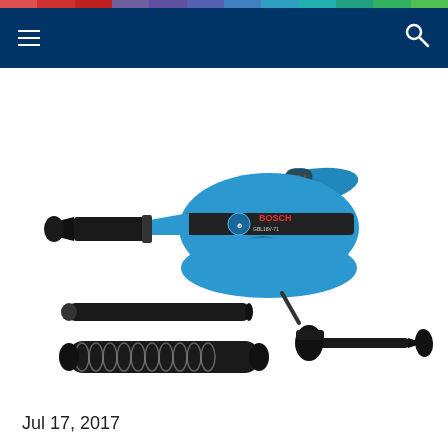Navigation header with hamburger menu and search icon
[Figure (photo): Bosch cordless blower (GBL18V-71) in blue color shown with accessories: straight extension tube, flexible hose, and narrow nozzle attachment]
Jul 17, 2017